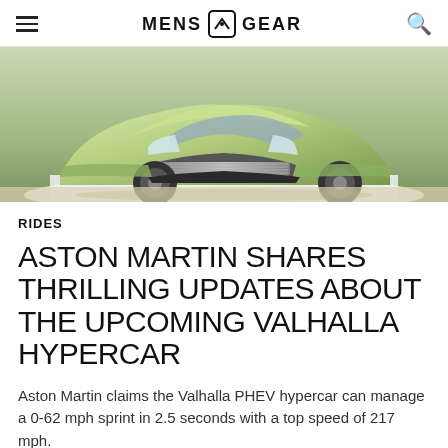MENS GEAR
[Figure (photo): Front view of a green/yellow-green Aston Martin Valhalla hypercar on display on a white platform against a light background.]
RIDES
ASTON MARTIN SHARES THRILLING UPDATES ABOUT THE UPCOMING VALHALLA HYPERCAR
Aston Martin claims the Valhalla PHEV hypercar can manage a 0-62 mph sprint in 2.5 seconds with a top speed of 217 mph.